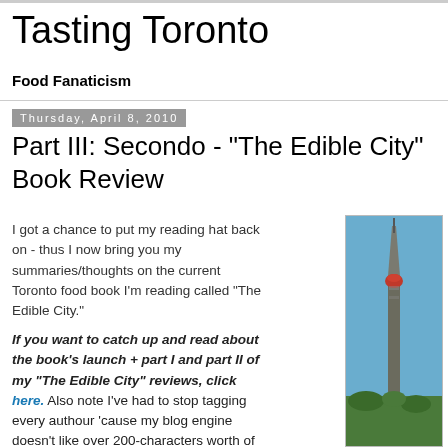Tasting Toronto
Food Fanaticism
Thursday, April 8, 2010
Part III: Secondo - "The Edible City" Book Review
I got a chance to put my reading hat back on - thus I now bring you my summaries/thoughts on the current Toronto food book I'm reading called "The Edible City."
If you want to catch up and read about the book's launch + part I and part II of my "The Edible City" reviews, click here. Also note I've had to stop tagging every authour 'cause my blog engine doesn't like over 200-characters worth of tags! LOL
[Figure (photo): Photo of the CN Tower against a blue sky]